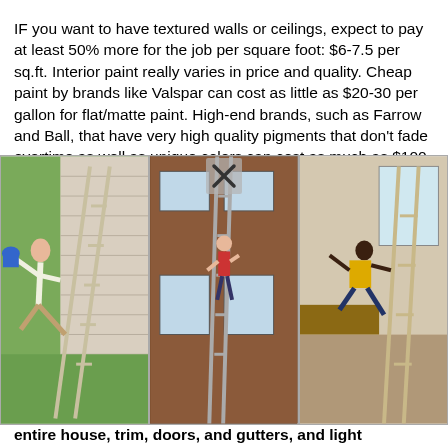IF you want to have textured walls or ceilings, expect to pay at least 50% more for the job per square foot: $6-7.5 per sq.ft. Interior paint really varies in price and quality. Cheap paint by brands like Valspar can cost as little as $20-30 per gallon for flat/matte paint. High-end brands, such as Farrow and Ball, that have very high quality pigments that don't fade overtime as well as unique colors can cost as much as $100-120 per gallon. However, you can get very beautiful results and la... such as Sh... local Lowe's... hese brands... Flying... bly respo... d contra... ry comm... e emplo... every... he entire house, trim, doors, and gutters, and light carpentry work to replace damaged cedar and trim in just a few days! They worked diligently throughout the heat and were very kind and communicative. The painters did a beautiful job! I appreciated the carpentry
[Figure (photo): Three photos of people falling off ladders: left shows a woman falling from a ladder against a house, center shows a person on a ladder against a brick house exterior, right shows a person falling from a ladder indoors.]